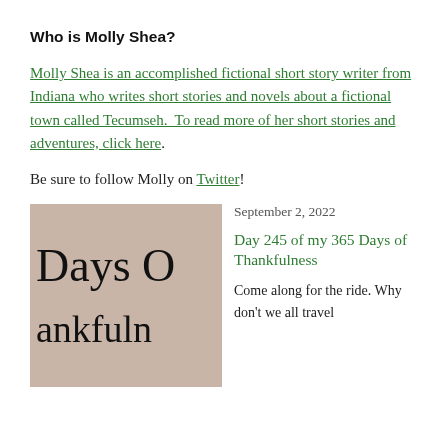Who is Molly Shea?
Molly Shea is an accomplished fictional short story writer from Indiana who writes short stories and novels about a fictional town called Tecumseh.  To read more of her short stories and adventures, click here.
Be sure to follow Molly on Twitter!
[Figure (photo): Thumbnail image showing stylized decorative text reading 'Days of Thankfulness' on a pale rose/tan background, partially cropped.]
September 2, 2022
Day 245 of my 365 Days of Thankfulness
Come along for the ride. Why don't we all travel